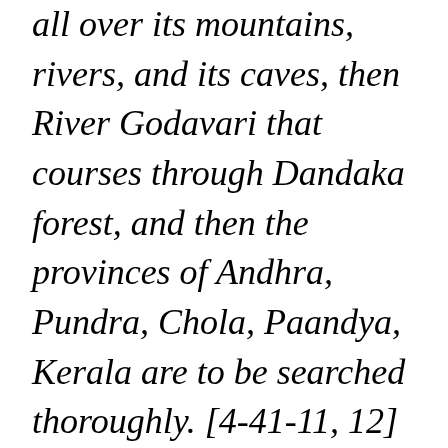all over its mountains, rivers, and its caves, then River Godavari that courses through Dandaka forest, and then the provinces of Andhra, Pundra, Chola, Paandya, Kerala are to be searched thoroughly. [4-41-11, 12] Some other mms have